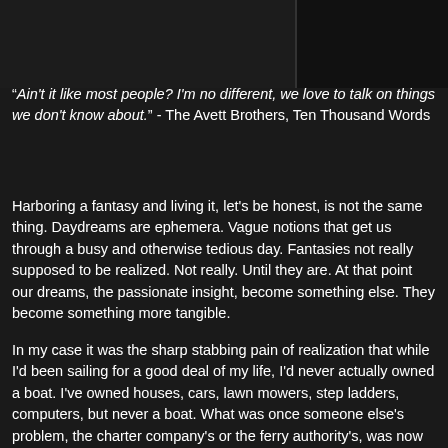[Figure (photo): Dark image area spanning the top of the page, split into two sections — a slightly lighter left panel and a darker right panel]
“Ain't it like most people? I'm no different, we love to talk on things we don't know about.” - The Avett Brothers, Ten Thousand Words
Harboring a fantasy and living it, let's be honest, is not the same thing. Daydreams are ephemera. Vague notions that get us through a busy and otherwise tedious day. Fantasies not really supposed to be realized. Not really. Until they are. At that point our dreams, the passionate insight, become something else. They become something more tangible.
In my case it was the sharp stabbing pain of realization that while I'd been sailing for a good deal of my life, I'd never actually owned a boat. I've owned houses, cars, lawn mowers, step ladders, computers, but never a boat. What was once someone else's problem, the charter company's or the ferry authority's, was now mine, or more correctly ours. The context has changed from whimsical vacations to a life